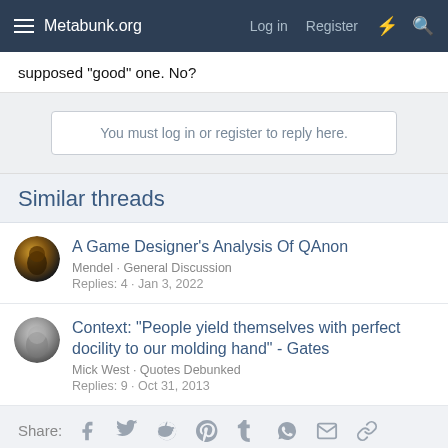Metabunk.org  Log in  Register
supposed "good" one. No?
You must log in or register to reply here.
Similar threads
A Game Designer's Analysis Of QAnon
Mendel · General Discussion
Replies: 4 · Jan 3, 2022
Context: "People yield themselves with perfect docility to our molding hand" - Gates
Mick West · Quotes Debunked
Replies: 9 · Oct 31, 2013
Share: